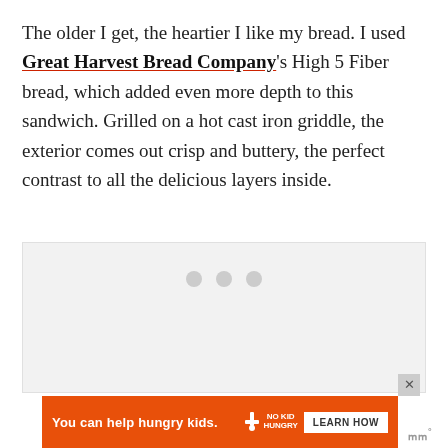The older I get, the heartier I like my bread. I used Great Harvest Bread Company's High 5 Fiber bread, which added even more depth to this sandwich. Grilled on a hot cast iron griddle, the exterior comes out crisp and buttery, the perfect contrast to all the delicious layers inside.
[Figure (other): Ad placeholder box with three gray dots indicating loading content]
[Figure (other): Advertisement banner: orange background, text 'You can help hungry kids.' with No Kid Hungry logo and 'LEARN HOW' button]